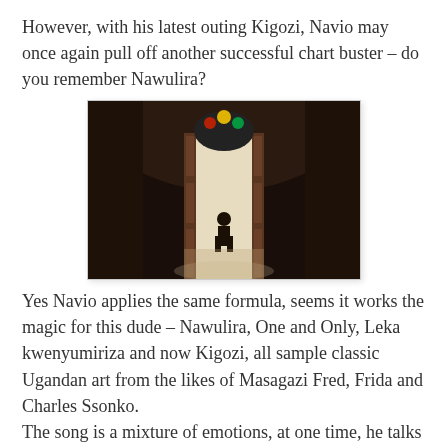However, with his latest outing Kigozi, Navio may once again pull off another successful chart buster – do you remember Nawulira?
[Figure (photo): A silhouetted figure stands in large open ornate double doors of what appears to be a church or cathedral interior, with colorful stained glass visible above the doorway. The interior is dark, with light streaming in from outside.]
Yes Navio applies the same formula, seems it works the magic for this dude – Nawulira, One and Only, Leka kwenyumiriza and now Kigozi, all sample classic Ugandan art from the likes of Masagazi Fred, Frida and Charles Ssonko.
The song is a mixture of emotions, at one time, he talks about the journey, brags and assures  other rappers though without being apologetic.
[Figure (photo): Partial image of what appears to be a building or architectural detail with a warm tan/sepia tone background, partially cut off at the bottom of the page.]